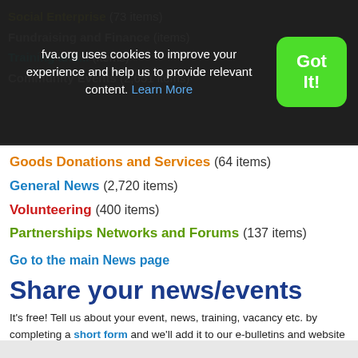Social Enterprise (73 items)
Fundraising and Finance (items)
Training and... (items)
Community Events (2,651 items)
fva.org uses cookies to improve your experience and help us to provide relevant content. Learn More
Got It!
Goods Donations and Services (64 items)
General News (2,720 items)
Volunteering (400 items)
Partnerships Networks and Forums (137 items)
Go to the main News page
Share your news/events
It's free! Tell us about your event, news, training, vacancy etc. by completing a short form and we'll add it to our e-bulletins and website - accessed by thousands of people every month.